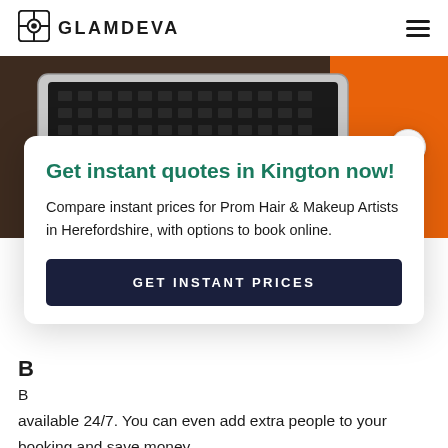GLAMDEVA
[Figure (photo): Laptop keyboard viewed from above on a wooden surface with an orange background, partially visible]
Get instant quotes in Kington now!
Compare instant prices for Prom Hair & Makeup Artists in Herefordshire, with options to book online.
GET INSTANT PRICES
B
available 24/7. You can even add extra people to your booking and save money.